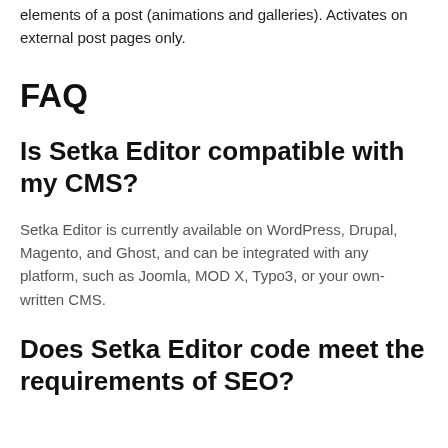elements of a post (animations and galleries). Activates on external post pages only.
FAQ
Is Setka Editor compatible with my CMS?
Setka Editor is currently available on WordPress, Drupal, Magento, and Ghost, and can be integrated with any platform, such as Joomla, MOD X, Typo3, or your own-written CMS.
Does Setka Editor code meet the requirements of SEO?